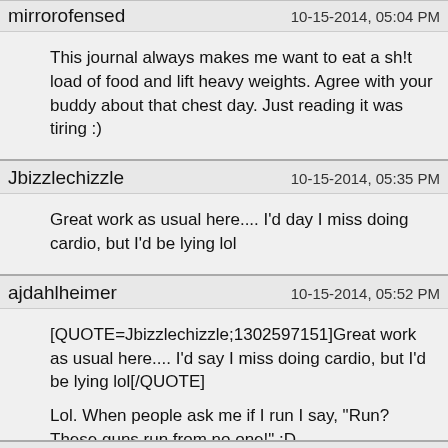mirrorofensed   10-15-2014, 05:04 PM
This journal always makes me want to eat a sh!t load of food and lift heavy weights. Agree with your buddy about that chest day. Just reading it was tiring :)
Jbizzlechizzle   10-15-2014, 05:35 PM
Great work as usual here.... I'd day I miss doing cardio, but I'd be lying lol
ajdahlheimer   10-15-2014, 05:52 PM
[QUOTE=Jbizzlechizzle;1302597151]Great work as usual here.... I'd say I miss doing cardio, but I'd be lying lol[/QUOTE]
Lol. When people ask me if I run I say, "Run? These guns run from no one!" :D